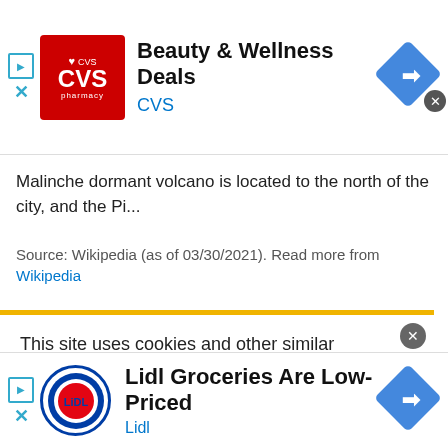[Figure (screenshot): CVS Pharmacy advertisement banner with logo, title 'Beauty & Wellness Deals', subtitle 'CVS', navigation diamond icon, and close button]
Malinche dormant volcano is located to the north of the city, and the Pi...
Source: Wikipedia (as of 03/30/2021). Read more from Wikipedia
[Figure (screenshot): Cookie notice popup: 'This site uses cookies and other similar technologies to provide site functionality, analyze traffic and usage, and...' with yellow top border and close button]
[Figure (screenshot): Lidl advertisement banner with logo, title 'Lidl Groceries Are Low-Priced', subtitle 'Lidl', navigation diamond icon, and close button]